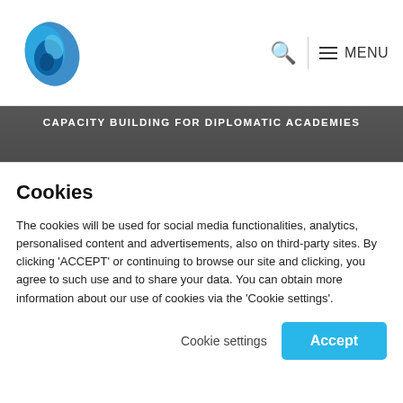[Figure (logo): Clingendael blue swirl logo mark]
CAPACITY BUILDING FOR DIPLOMATIC ACADEMIES
OFFICE ADDRESS
CLINGENDAEL 7
2597 VH THE HAGUE
Cookies
The cookies will be used for social media functionalities, analytics, personalised content and advertisements, also on third-party sites. By clicking 'ACCEPT' or continuing to browse our site and clicking, you agree to such use and to share your data. You can obtain more information about our use of cookies via the 'Cookie settings'.
Cookie settings    Accept